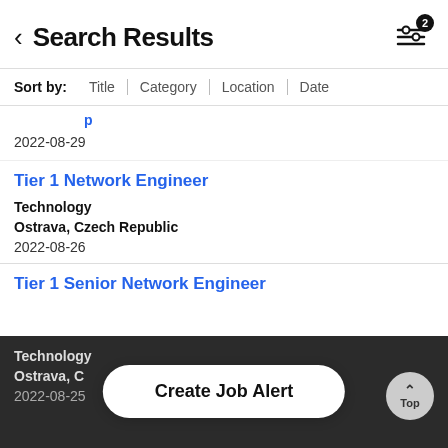Search Results
Sort by: Title | Category | Location | Date
2022-08-29
Tier 1 Network Engineer
Technology
Ostrava, Czech Republic
2022-08-26
Tier 1 Senior Network Engineer
Technology
Ostrava, C
2022-08-25
Create Job Alert